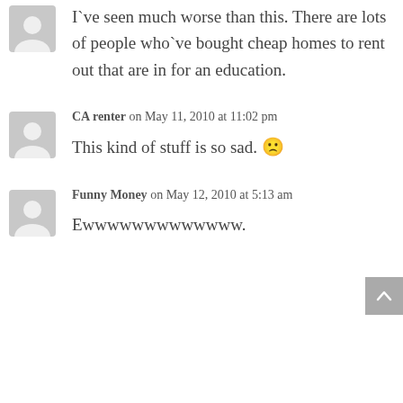I`ve seen much worse than this. There are lots of people who`ve bought cheap homes to rent out that are in for an education.
CA renter on May 11, 2010 at 11:02 pm
This kind of stuff is so sad. 🙁
Funny Money on May 12, 2010 at 5:13 am
Ewwwwwwwwwwwww.